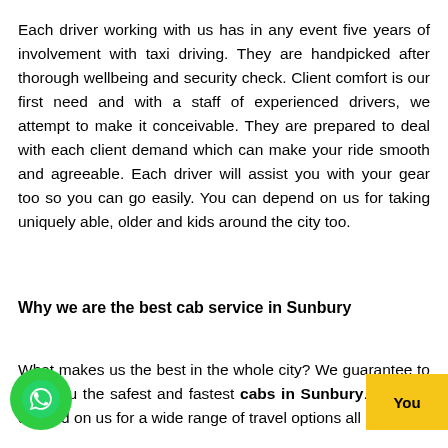Each driver working with us has in any event five years of involvement with taxi driving. They are handpicked after thorough wellbeing and security check. Client comfort is our first need and with a staff of experienced drivers, we attempt to make it conceivable. They are prepared to deal with each client demand which can make your ride smooth and agreeable. Each driver will assist you with your gear too so you can go easily. You can depend on us for taking uniquely able, older and kids around the city too.
Why we are the best cab service in Sunbury
What makes us the best in the whole city? We guarantee to give you the safest and fastest cabs in Sunbury. You can depend on us for a wide range of travel options all
[Figure (illustration): Green circular phone/call icon (WhatsApp-style) in bottom-left corner]
[Figure (illustration): Yellow button with text 'You' in bottom-right corner]